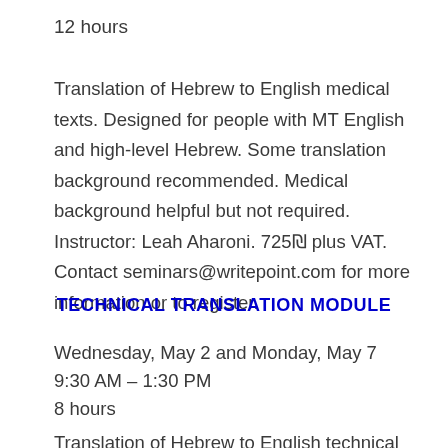12 hours
Translation of Hebrew to English medical texts.  Designed for people with MT English and high-level Hebrew.  Some translation background recommended.  Medical background helpful but not required.  Instructor: Leah Aharoni.  725₪ plus VAT.  Contact seminars@writepoint.com for more information or to register.
TECHNICAL TRANSLATION MODULE
Wednesday,  May 2 and Monday, May 7
9:30 AM – 1:30 PM
8 hours
Translation of Hebrew to English technical documentation.  Designed for people with MT English and high-level Hebrew.  Some translation background recommended. Technical